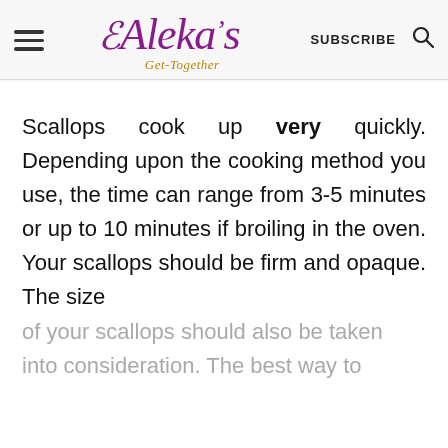Aleka's Get-Together | SUBSCRIBE
Scallops cook up very quickly. Depending upon the cooking method you use, the time can range from 3-5 minutes or up to 10 minutes if broiling in the oven. Your scallops should be firm and opaque. The size of your scallops should also be taken into consideration. The best way to
of your scallops should also be taken into consideration. The best way to